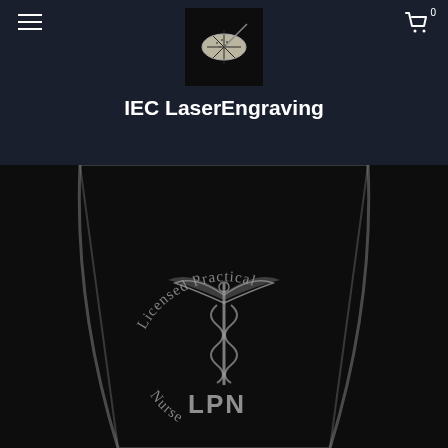IEC LaserEngraving
[Figure (logo): IEC LaserEngraving logo: dark square with an eye-shaped oval containing a starburst/compass design]
IEC LaserEngraving
[Figure (photo): Product photo of a glass tumbler with laser-engraved design showing a caduceus medical symbol, the letters LPN, and the curved text 'Licensed Practical Nurse' arranged in a circular arc around the caduceus]